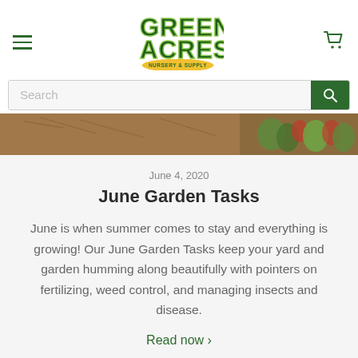[Figure (logo): Green Acres Nursery & Supply logo — green stylized text with yellow oval badge]
[Figure (screenshot): Website search bar with gray background input field reading 'Search' and a dark green search button with magnifying glass icon]
[Figure (photo): Banner photo showing garden mulch and colorful plants]
June 4, 2020
June Garden Tasks
June is when summer comes to stay and everything is growing! Our June Garden Tasks keep your yard and garden humming along beautifully with pointers on fertilizing, weed control, and managing insects and disease.
Read now ›